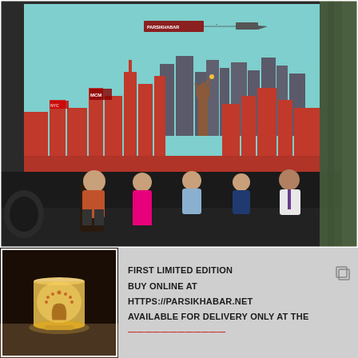[Figure (photo): Panel discussion on a stage. Five people (mostly women, one man) seated in chairs in front of a large projection screen showing a colorful illustrated New York City skyline with the Statue of Liberty, skyscrapers, and a small airplane pulling a banner. The setting appears to be a conference or community event. A speaker in a rust-colored blazer holds a microphone. Stage lighting and a curtain are visible on the right.]
[Figure (photo): A glowing lamp/candle with an intricate Parsi/Zoroastrian urn motif on a dark background, placed on a gray surface.]
FIRST LIMITED EDITION
BUY ONLINE AT
HTTPS://PARSIKHABAR.NET
AVAILABLE FOR DELIVERY ONLY AT THE